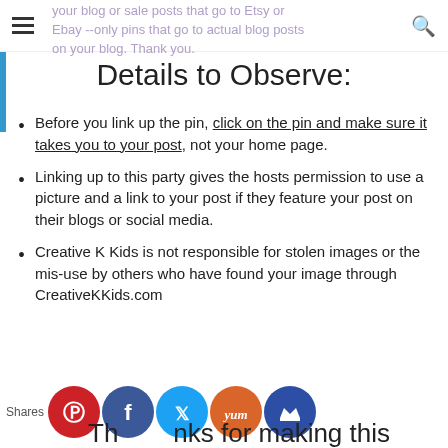your blog or sale posts that go to Etsy or Ebay --only pins that go to actual blog posts on your blog. Thank you.
Details to Observe:
Before you link up the pin, click on the pin and make sure it takes you to your post, not your home page.
Linking up to this party gives the hosts permission to use a picture and a link to your post if they feature your post on their blogs or social media.
Creative K Kids is not responsible for stolen images or the mis-use by others who have found your image through CreativeKKids.com
Thanks for making this